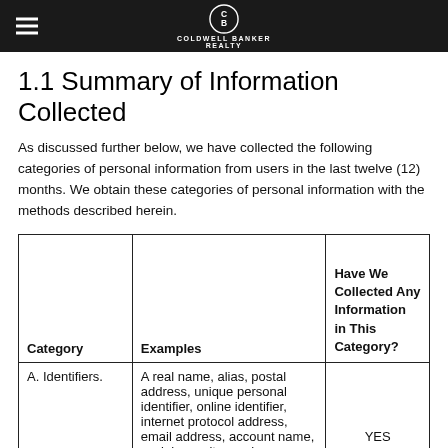COLDWELL BANKER REALTY
1.1 Summary of Information Collected
As discussed further below, we have collected the following categories of personal information from users in the last twelve (12) months. We obtain these categories of personal information with the methods described herein.
| Category | Examples | Have We Collected Any Information in This Category? |
| --- | --- | --- |
| A. Identifiers. | A real name, alias, postal address, unique personal identifier, online identifier, internet protocol address, email address, account name, social security number, driver's license number, passport number, or other similar identifiers | YES |